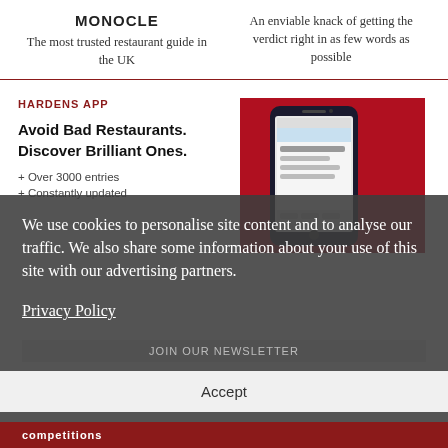MONOCLE
The most trusted restaurant guide in the UK
An enviable knack of getting the verdict right in as few words as possible
HARDENS APP
Avoid Bad Restaurants. Discover Brilliant Ones.
+ Over 3000 entries
+ Constantly updated
[Figure (photo): Smartphone showing Hardens restaurant guide app on a red background]
We use cookies to personalise site content and to analyse our traffic. We also share some information about your use of this site with our advertising partners.
Privacy Policy
JOIN OUR NEWSLETTER
Accept
competitions